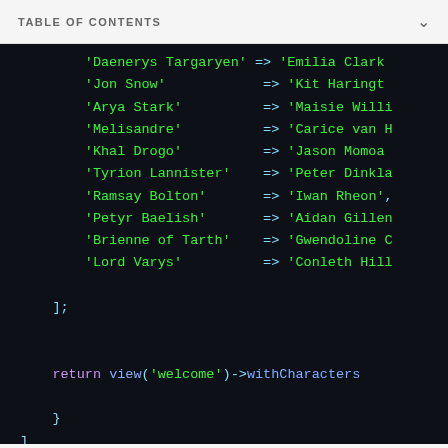TABLE OF CONTENTS
[Figure (screenshot): Dark-themed code editor screenshot showing a PHP array mapping Game of Thrones character names to actor names, followed by a return statement calling view('welcome')->withCharacters(...)]